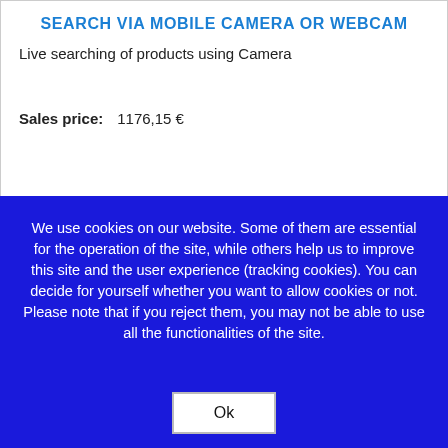SEARCH VIA MOBILE CAMERA OR WEBCAM
Live searching of products using Camera
Sales price:    1176,15 €
We use cookies on our website. Some of them are essential for the operation of the site, while others help us to improve this site and the user experience (tracking cookies). You can decide for yourself whether you want to allow cookies or not. Please note that if you reject them, you may not be able to use all the functionalities of the site.
Ok
More information